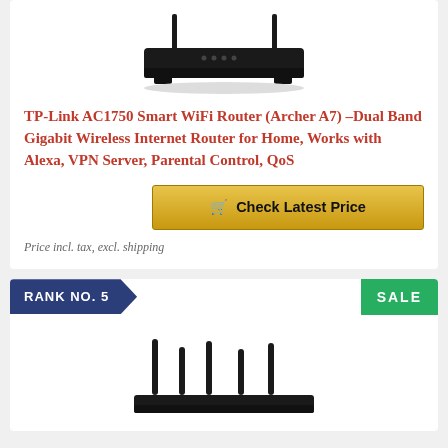[Figure (photo): Top portion of a TP-Link router product image, showing the router body in black from above]
TP-Link AC1750 Smart WiFi Router (Archer A7) –Dual Band Gigabit Wireless Internet Router for Home, Works with Alexa, VPN Server, Parental Control, QoS
Check Latest Price
Price incl. tax, excl. shipping
RANK NO. 5
SALE
[Figure (photo): Bottom portion showing antennas of a wireless router product]